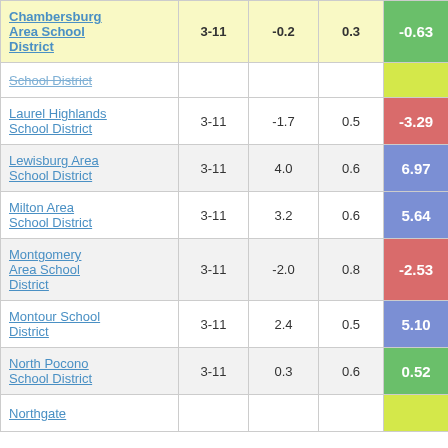| District | Grades | Col3 | Col4 | Score |
| --- | --- | --- | --- | --- |
| Chambersburg Area School District | 3-11 | -0.2 | 0.3 | -0.63 |
| School District |  |  |  |  |
| Laurel Highlands School District | 3-11 | -1.7 | 0.5 | -3.29 |
| Lewisburg Area School District | 3-11 | 4.0 | 0.6 | 6.97 |
| Milton Area School District | 3-11 | 3.2 | 0.6 | 5.64 |
| Montgomery Area School District | 3-11 | -2.0 | 0.8 | -2.53 |
| Montour School District | 3-11 | 2.4 | 0.5 | 5.10 |
| North Pocono School District | 3-11 | 0.3 | 0.6 | 0.52 |
| Northgate |  |  |  |  |